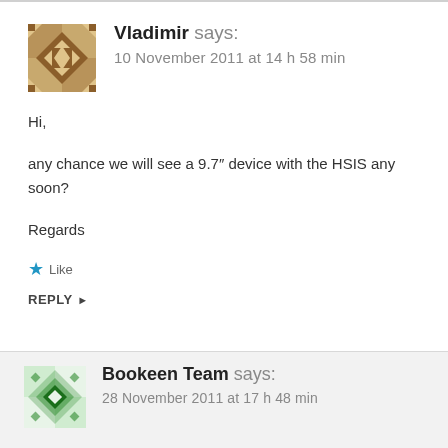Vladimir says: 10 November 2011 at 14 h 58 min
Hi,

any chance we will see a 9.7″ device with the HSIS any soon?

Regards
Like
REPLY ▸
Bookeen Team says: 28 November 2011 at 17 h 48 min